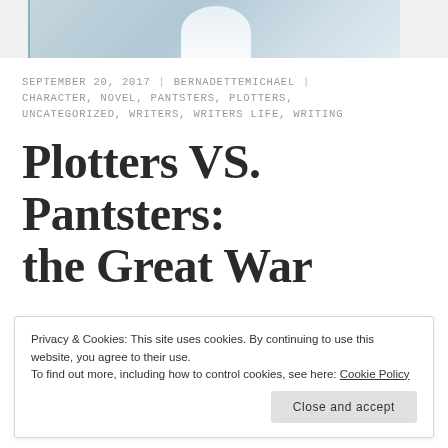[Figure (photo): Partial photo of a subject with light blue border, cropped at top of page]
SEPTEMBER 20, 2017 | BERNADETTEMICHAEL | CHARACTER, NOVEL, PANTSTERS, PLOTTERS, UNCATEGORIZED, WRITERS, WRITERS LIFE, WRITING
Plotters VS. Pantsters: the Great War
Privacy & Cookies: This site uses cookies. By continuing to use this website, you agree to their use.
To find out more, including how to control cookies, see here: Cookie Policy
Close and accept